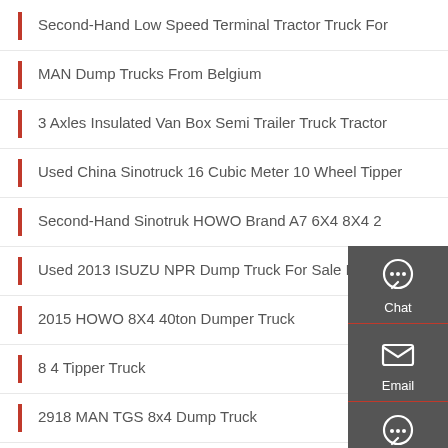Second-Hand Low Speed Terminal Tractor Truck For
MAN Dump Trucks From Belgium
3 Axles Insulated Van Box Semi Trailer Truck Tractor
Used China Sinotruck 16 Cubic Meter 10 Wheel Tipper
Second-Hand Sinotruk HOWO Brand A7 6X4 8X4 2
Used 2013 ISUZU NPR Dump Truck For Sale In New
2015 HOWO 8X4 40ton Dumper Truck
8 4 Tipper Truck
2918 MAN TGS 8x4 Dump Truck
[Figure (infographic): Sidebar with Chat, Email, and Contact buttons on dark grey background]